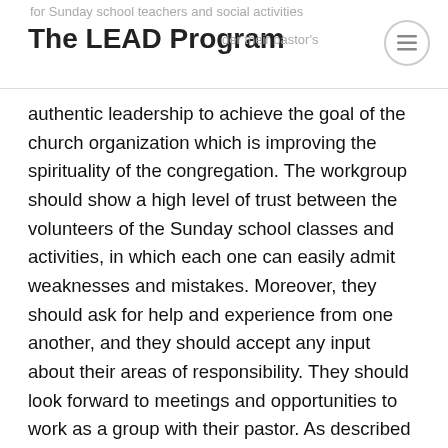for Sunday school teachers and social activities
The LEAD Program
shared accountability under their pastor's
authentic leadership to achieve the goal of the church organization which is improving the spirituality of the congregation. The workgroup should show a high level of trust between the volunteers of the Sunday school classes and activities, in which each one can easily admit weaknesses and mistakes. Moreover, they should ask for help and experience from one another, and they should accept any input about their areas of responsibility. They should look forward to meetings and opportunities to work as a group with their pastor. As described by Lencioni (2002), trust requires team members to make themselves vulnerable to one another and to be confident that their respective vulnerabilities will not be used against them (p. 196).